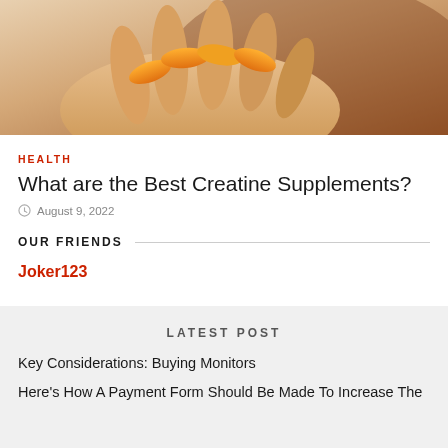[Figure (photo): Close-up of a hand holding orange supplement capsules against a light background]
HEALTH
What are the Best Creatine Supplements?
August 9, 2022
OUR FRIENDS
Joker123
LATEST POST
Key Considerations: Buying Monitors
Here's How A Payment Form Should Be Made To Increase The